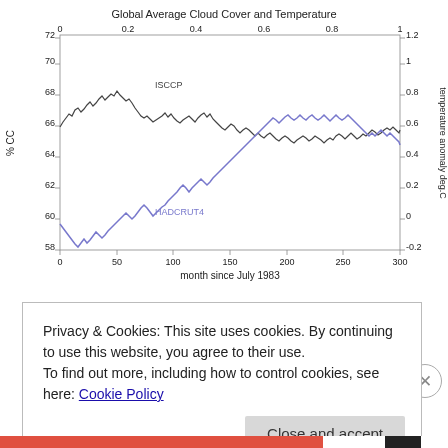[Figure (continuous-plot): Line chart showing ISCCP (black) % cloud cover and HadCRUT4 (blue) temperature anomaly in deg C over months since July 1983. Left y-axis: % CC from 58 to 72. Right y-axis: temperature anomaly from -0.2 to 1.2 deg C. X-axis: 0 to 300 months. Top x-axis: 0 to 1.]
Privacy & Cookies: This site uses cookies. By continuing to use this website, you agree to their use.
To find out more, including how to control cookies, see here: Cookie Policy